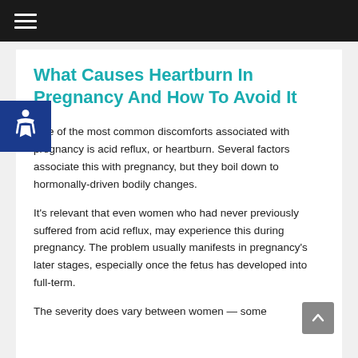☰ (hamburger menu)
What Causes Heartburn In Pregnancy And How To Avoid It
One of the most common discomforts associated with pregnancy is acid reflux, or heartburn. Several factors associate this with pregnancy, but they boil down to hormonally-driven bodily changes.
It's relevant that even women who had never previously suffered from acid reflux, may experience this during pregnancy. The problem usually manifests in pregnancy's later stages, especially once the fetus has developed into full-term.
The severity does vary between women — some